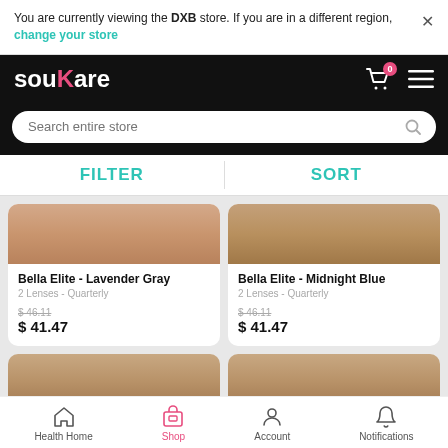You are currently viewing the DXB store. If you are in a different region, change your store
[Figure (screenshot): souKare logo on black header bar with cart icon (badge 0) and hamburger menu]
Search entire store
FILTER
SORT
Bella Elite - Lavender Gray
2 Lenses - Quarterly
$ 46.11
$ 41.47
Bella Elite - Midnight Blue
2 Lenses - Quarterly
$ 46.11
$ 41.47
[Figure (photo): Partial eyebrow/skin product image, left]
[Figure (photo): Partial eyebrow/skin product image, right]
Health Home
Shop
Account
Notifications